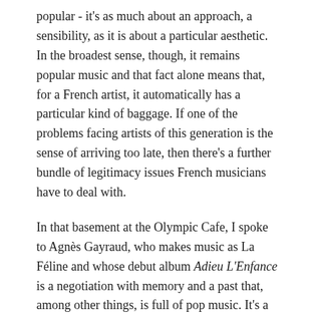popular - it's as much about an approach, a sensibility, as it is about a particular aesthetic. In the broadest sense, though, it remains popular music and that fact alone means that, for a French artist, it automatically has a particular kind of baggage. If one of the problems facing artists of this generation is the sense of arriving too late, then there's a further bundle of legitimacy issues French musicians have to deal with.
In that basement at the Olympic Cafe, I spoke to Agnès Gayraud, who makes music as La Féline and whose debut album Adieu L'Enfance is a negotiation with memory and a past that, among other things, is full of pop music. It's a preoccupation that was already clear from her previous release, an EP of spring reverb-heavy covers (including Julee Cruise and Angelo Badalamenti's 'Into the Night', 'Johnny Remember Me', traditional song 'Le Roi A Fait Battre Tambour' and a 'cover' of one of her own songs). La Féline's songs have a kind of modesty, they're frequently compact,